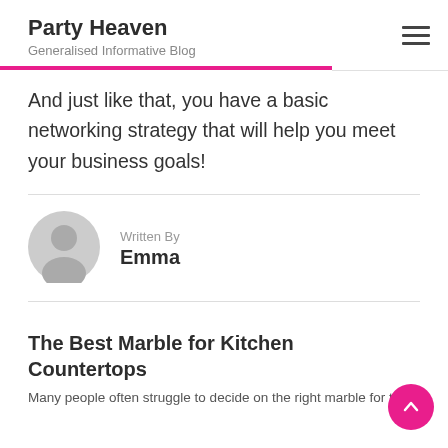Party Heaven
Generalised Informative Blog
And just like that, you have a basic networking strategy that will help you meet your business goals!
Written By
Emma
The Best Marble for Kitchen Countertops
Many people often struggle to decide on the right marble for their